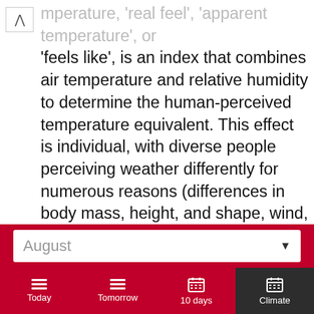mperature, 'real feel', 'apparent temperature', or 'feels like', is an index that combines air temperature and relative humidity to determine the human-perceived temperature equivalent. This effect is individual, with diverse people perceiving weather differently for numerous reasons (differences in body mass, height, and shape, wind, pregnancy), and activity. Bear in mind that direct sunshine exposure increases weather impact, and may raise heat index by up to 15 Fahrenheit (8 Celsius) degrees. Heat index values are particularly important for children
August
Today
Tomorrow
10 days
Climate